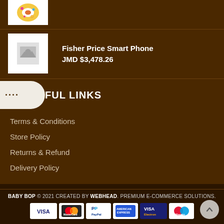[Figure (photo): Product thumbnail showing a donut/flower image at top]
Fisher Price Smart Phone
JMD $3,478.26
....FUL LINKS
Terms & Conditions
Store Policy
Returns & Refund
Delivery Policy
BABY BOP © 2021 CREATED BY WEBHEAD. PREMIUM E-COMMERCE SOLUTIONS.
[Figure (other): Payment method icons: VISA, MasterCard, PayPal, American Express, VISA Electron, Maestro]